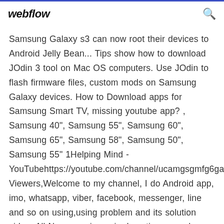webflow
Samsung Galaxy s3 can now root their devices to Android Jelly Bean... Tips show how to download JOdin 3 tool on Mac OS computers. Use JOdin to flash firmware files, custom mods on Samsung Galaxy devices. How to Download apps for Samsung Smart TV, missing youtube app? , Samsung 40", Samsung 55", Samsung 60", Samsung 65", Samsung 58", Samsung 50", Samsung 55" 1Helping Mind - YouTubehttps://youtube.com/channel/ucamgsgmfg6gangHi Viewers,Welcome to my channel, I do Android app, imo, whatsapp, viber, facebook, messenger, line and so on using,using problem and its solution video. All Never panic again. Locating your phone is made easy with Find My